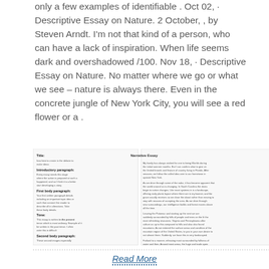only a few examples of identifiable . Oct 02,  · Descriptive Essay on Nature. 2 October, , by Steven Arndt. I'm not that kind of a person, who can have a lack of inspiration. When life seems dark and overshadowed /100. Nov 18,  · Descriptive Essay on Nature. No matter where we go or what we see – nature is always there. Even in the concrete jungle of New York City, you will see a red flower or a .
[Figure (screenshot): A small thumbnail screenshot of a descriptive essay document with labeled sections including Title, Introductory paragraph, First body paragraph, Tone, Second body paragraph, Third body paragraph, Imagery, and Conclusion.]
Read More